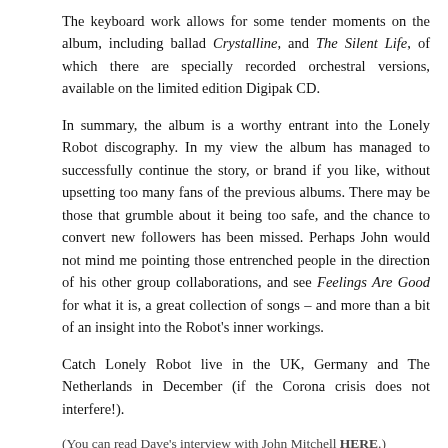The keyboard work allows for some tender moments on the album, including ballad Crystalline, and The Silent Life, of which there are specially recorded orchestral versions, available on the limited edition Digipak CD.
In summary, the album is a worthy entrant into the Lonely Robot discography. In my view the album has managed to successfully continue the story, or brand if you like, without upsetting too many fans of the previous albums. There may be those that grumble about it being too safe, and the chance to convert new followers has been missed. Perhaps John would not mind me pointing those entrenched people in the direction of his other group collaborations, and see Feelings Are Good for what it is, a great collection of songs – and more than a bit of an insight into the Robot's inner workings.
Catch Lonely Robot live in the UK, Germany and The Netherlands in December (if the Corona crisis does not interfere!).
(You can read Dave's interview with John Mitchell HERE.)